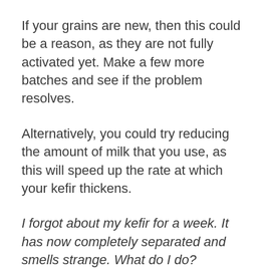If your grains are new, then this could be a reason, as they are not fully activated yet. Make a few more batches and see if the problem resolves.
Alternatively, you could try reducing the amount of milk that you use, as this will speed up the rate at which your kefir thickens.
I forgot about my kefir for a week. It has now completely separated and smells strange. What do I do?
Ideally, you should not leave your grains fermenting for longer than 48 hours, as they will have run out of nutrients from